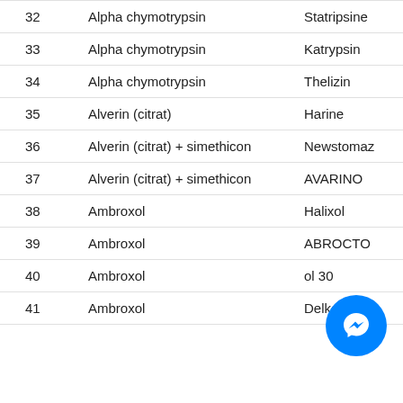| # | Substance | Brand |
| --- | --- | --- |
| 32 | Alpha chymotrypsin | Statripsine |
| 33 | Alpha chymotrypsin | Katrypsin |
| 34 | Alpha chymotrypsin | Thelizin |
| 35 | Alverin (citrat) | Harine |
| 36 | Alverin (citrat) + simethicon | Newstomaz |
| 37 | Alverin (citrat) + simethicon | AVARINO |
| 38 | Ambroxol | Halixol |
| 39 | Ambroxol | ABROCTO |
| 40 | Ambroxol | ol 30 |
| 41 | Ambroxol | Delkorin |